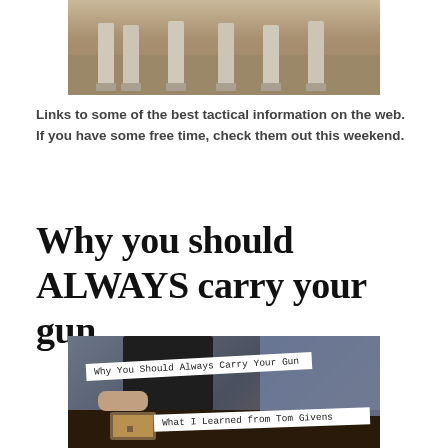[Figure (photo): Photo showing people in light-colored clothing standing on sandy/dirt ground, cropped to show lower bodies]
Links to some of the best tactical information on the web.  If you have some free time, check them out this weekend.
Why you should ALWAYS carry your gun
[Figure (photo): Photo of a gun in a holster on a belt with two handwritten-style label strips reading 'Why You Should Always Carry Your Gun' and 'What I Learned from Tom Givens']